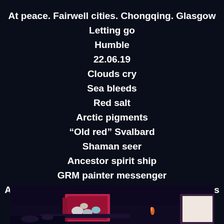At peace. Fairwell cities. Chongqing. Glasgow
Letting go
Humble
22.06.19
Clouds cry
Sea bleeds
Red salt
Arctic pigments
“Old red” Svalbard
Shaman seer
Ancestor spirit ship
GRM painter messenger
Arctic intentions 1 north I ancestors felt visions not forgotten.
[Figure (photo): A dark stage or floor scene showing a pink/red open box with stones or objects inside, set on a dark surface with dim lighting.]